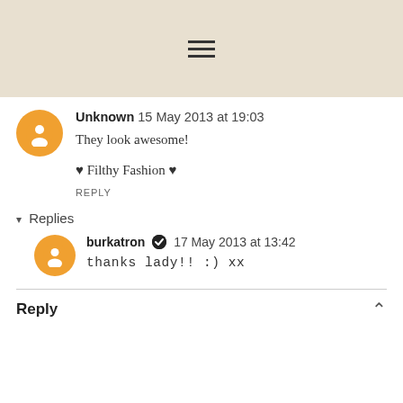≡ (hamburger menu icon)
Unknown 15 May 2013 at 19:03
They look awesome!

♥ Filthy Fashion ♥

REPLY
▾ Replies
burkatron ✔ 17 May 2013 at 13:42
thanks lady!! :) xx
Reply